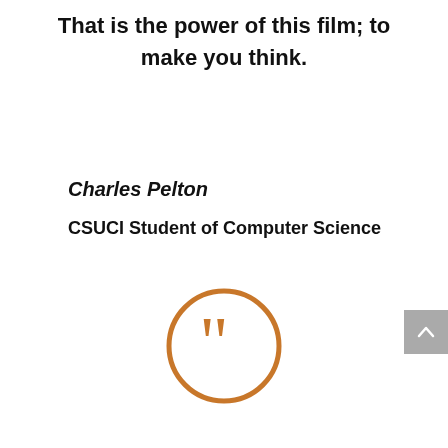That is the power of this film; to make you think.
Charles Pelton
CSUCI Student of Computer Science
[Figure (illustration): Closing quotation marks icon — two curly close-quote marks inside a circle, rendered in orange/brown color]